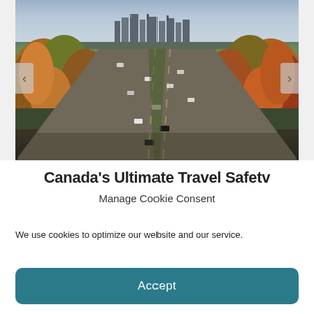[Figure (photo): Aerial view of a multi-lane highway curving through autumn-colored forest with a city skyline visible in the background under cloudy skies]
Canada's Ultimate Travel Safetv
Manage Cookie Consent
We use cookies to optimize our website and our service.
Accept